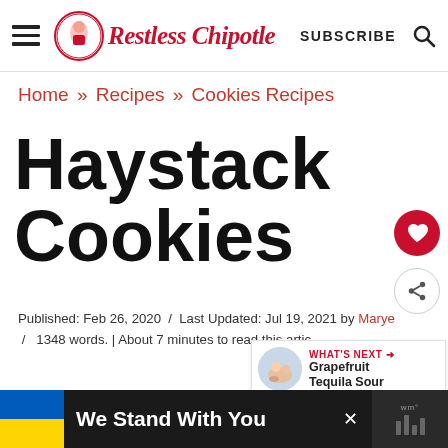Restless Chipotle — SUBSCRIBE
Home » Recipes » Cookies Recipes
Haystack Cookies
Published: Feb 26, 2020  /  Last Updated: Jul 19, 2021 by Marye  /  1348 words. | About 7 minutes to read this article
WHAT'S NEXT → Grapefruit Tequila Sour
We Stand With You